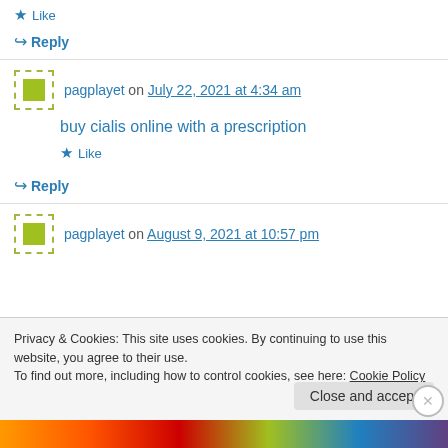★ Like
↪ Reply
pagplayet on July 22, 2021 at 4:34 am
buy cialis online with a prescription
★ Like
↪ Reply
pagplayet on August 9, 2021 at 10:57 pm
Privacy & Cookies: This site uses cookies. By continuing to use this website, you agree to their use.
To find out more, including how to control cookies, see here: Cookie Policy
Close and accept